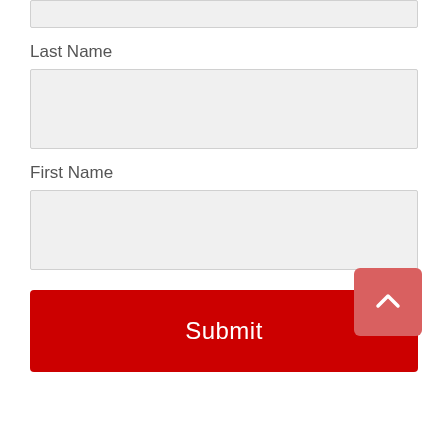Last Name
First Name
Submit
[Figure (illustration): A scroll-to-top button: a pink-red square with a white upward-pointing chevron arrow icon]